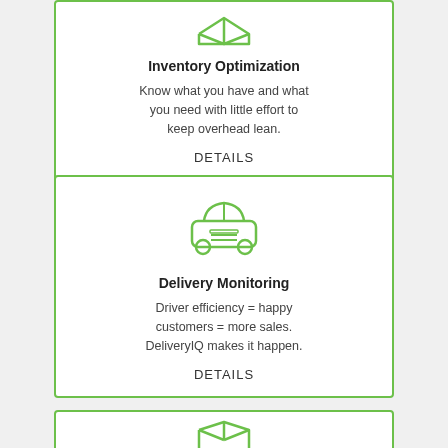[Figure (illustration): Green line-art icon of a box/package (partially visible at top), representing inventory optimization]
Inventory Optimization
Know what you have and what you need with little effort to keep overhead lean.
DETAILS
[Figure (illustration): Green line-art icon of a car/vehicle (front view), representing delivery monitoring]
Delivery Monitoring
Driver efficiency = happy customers = more sales. DeliveryIQ makes it happen.
DETAILS
[Figure (illustration): Green line-art icon partially visible at bottom of page, similar to a box or chart icon]